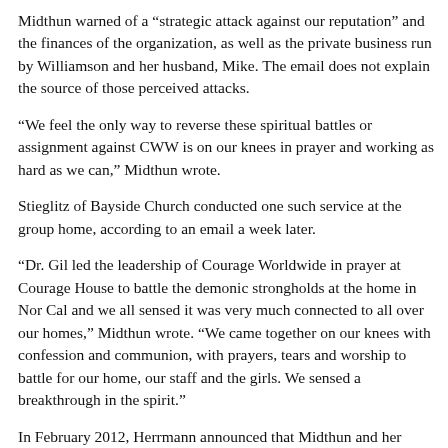Midthun warned of a “strategic attack against our reputation” and the finances of the organization, as well as the private business run by Williamson and her husband, Mike. The email does not explain the source of those perceived attacks.
“We feel the only way to reverse these spiritual battles or assignment against CWW is on our knees in prayer and working as hard as we can,” Midthun wrote.
Stieglitz of Bayside Church conducted one such service at the group home, according to an email a week later.
“Dr. Gil led the leadership of Courage Worldwide in prayer at Courage House to battle the demonic strongholds at the home in Nor Cal and we all sensed it was very much connected to all over our homes,” Midthun wrote. “We came together on our knees with confession and communion, with prayers, tears and worship to battle for our home, our staff and the girls. We sensed a breakthrough in the spirit.”
In February 2012, Herrmann announced that Midthun and her husband, Joel, had been appointed as “Courage House Spiritual Directors” and that staffers should “pray for extra protection, strength, discernment AND that God would continue to reveal